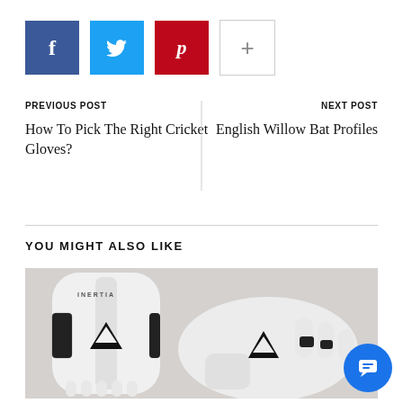[Figure (infographic): Social sharing buttons: Facebook (blue), Twitter (cyan), Pinterest (red), Plus (white with border)]
PREVIOUS POST
NEXT POST
How To Pick The Right Cricket Gloves?
English Willow Bat Profiles
YOU MIGHT ALSO LIKE
[Figure (photo): Black and white photo of cricket protective gear (leg pads and gloves) with INERTIA branding and a triangular logo]